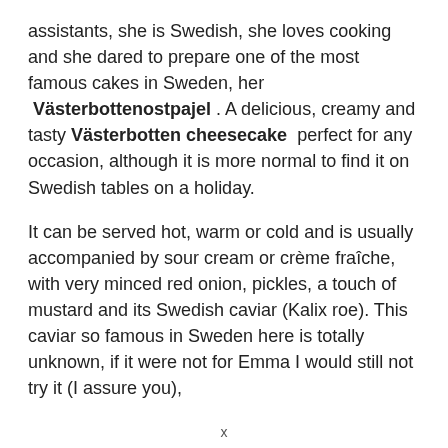assistants, she is Swedish, she loves cooking and she dared to prepare one of the most famous cakes in Sweden, her  Västerbottenostpajel . A delicious, creamy and tasty Västerbotten cheesecake  perfect for any occasion, although it is more normal to find it on Swedish tables on a holiday.
It can be served hot, warm or cold and is usually accompanied by sour cream or crème fraîche, with very minced red onion, pickles, a touch of mustard and its Swedish caviar (Kalix roe). This caviar so famous in Sweden here is totally unknown, if it were not for Emma I would still not try it (I assure you),
x